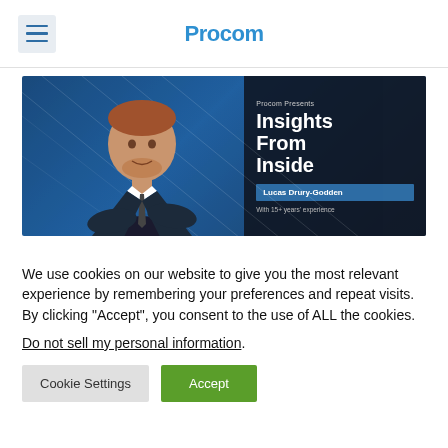Procom (navigation bar with hamburger menu and Procom logo)
[Figure (photo): Procom Presents: Insights From Inside banner featuring Lucas Drury-Godden with 15+ years' experience. Shows a man in a suit on a blue-toned background with dark right panel containing the text.]
We use cookies on our website to give you the most relevant experience by remembering your preferences and repeat visits. By clicking "Accept", you consent to the use of ALL the cookies.
Do not sell my personal information.
Cookie Settings  |  Accept